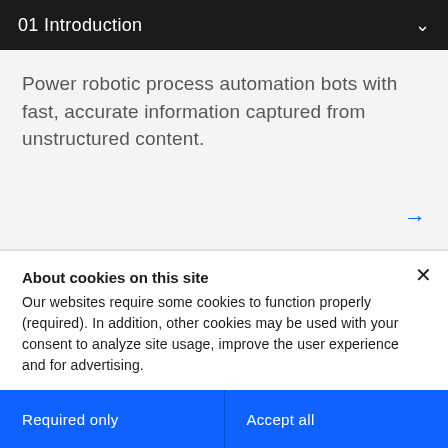01 Introduction
Power robotic process automation bots with fast, accurate information captured from unstructured content.
About cookies on this site
Our websites require some cookies to function properly (required). In addition, other cookies may be used with your consent to analyze site usage, improve the user experience and for advertising.

For more information, please review your Cookie preferences options and IBM's privacy statement.